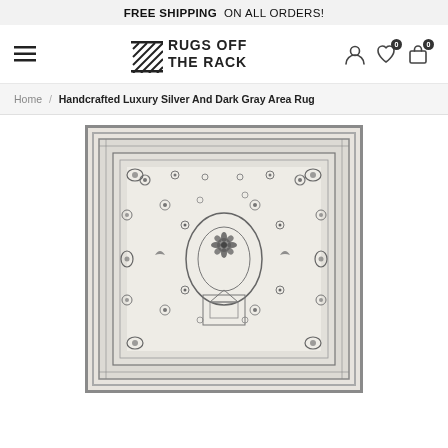FREE SHIPPING ON ALL ORDERS!
[Figure (logo): Rugs Off The Rack logo with diagonal lines graphic and text]
Home / Handcrafted Luxury Silver And Dark Gray Area Rug
[Figure (photo): Photo of a handcrafted luxury silver and dark gray area rug with intricate Persian/Oriental floral and medallion pattern]